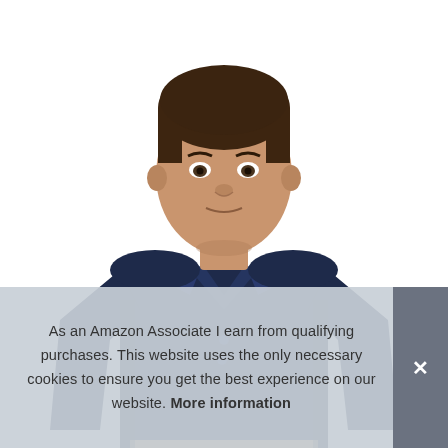[Figure (photo): A man wearing a navy blue long-sleeve polo shirt, standing against a white background. He has short dark hair and is looking directly at the camera. The shirt has a collar and two visible buttons.]
As an Amazon Associate I earn from qualifying purchases. This website uses the only necessary cookies to ensure you get the best experience on our website. More information